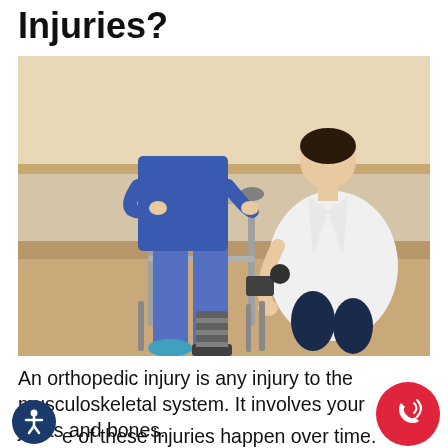Injuries?
[Figure (photo): A doctor in a white coat crouches down to examine the ankle/foot of a patient wearing a medical boot, using a walker for support in a hallway or rehabilitation area.]
An orthopedic injury is any injury to the musculoskeletal system. It involves your joints and bones.
Some of these injuries happen over time. Repetitive motion, sports injuries, and age can cause damage to the tendons.